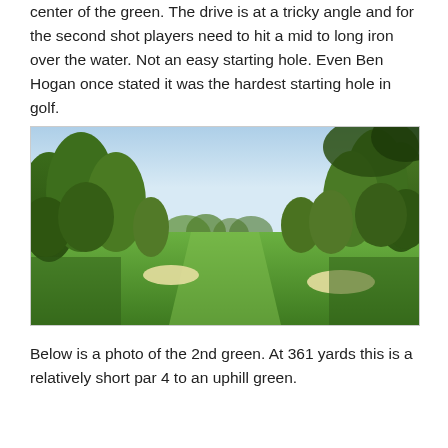center of the green. The drive is at a tricky angle and for the second shot players need to hit a mid to long iron over the water. Not an easy starting hole. Even Ben Hogan once stated it was the hardest starting hole in golf.
[Figure (photo): Photograph of a golf course fairway with lush green grass, trees lining both sides, bunkers visible in the middle distance, and a clear sky above.]
Below is a photo of the 2nd green. At 361 yards this is a relatively short par 4 to an uphill green.